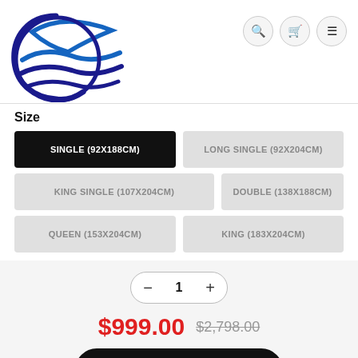[Figure (logo): Blue wave/bird logo with circular design and flowing wave lines]
Size
SINGLE (92X188CM) [selected]
LONG SINGLE (92X204CM)
KING SINGLE (107X204CM)
DOUBLE (138X188CM)
QUEEN (153X204CM)
KING (183X204CM)
Quantity: 1
$999.00  $2,798.00
Add to Cart